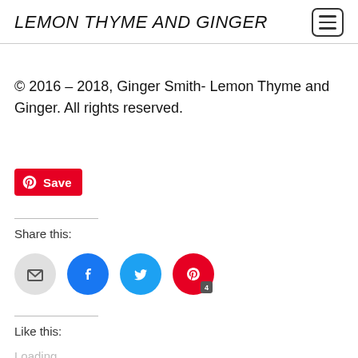LEMON THYME AND GINGER
© 2016 – 2018, Ginger Smith- Lemon Thyme and Ginger. All rights reserved.
[Figure (other): Pinterest Save button (red button with Pinterest logo and 'Save' text)]
Share this:
[Figure (other): Social share icons: email (gray circle), Facebook (blue circle), Twitter (cyan circle), Pinterest (red circle with badge '4')]
Like this:
Loading...